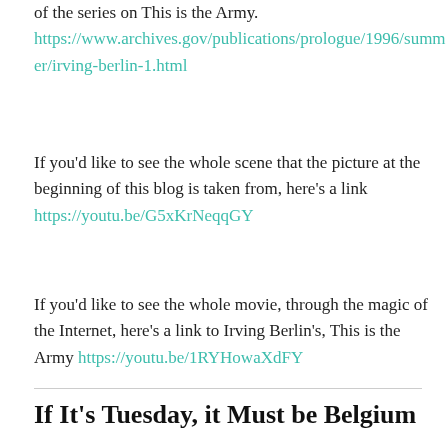of the series on This is the Army. https://www.archives.gov/publications/prologue/1996/summer/irving-berlin-1.html
If you'd like to see the whole scene that the picture at the beginning of this blog is taken from, here's a link https://youtu.be/G5xKrNeqqGY
If you'd like to see the whole movie, through the magic of the Internet, here's a link to Irving Berlin's, This is the Army https://youtu.be/1RYHowaXdFY
If It's Tuesday, it Must be Belgium